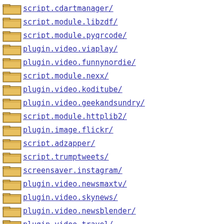script.cdartmanager/
script.module.libzdf/
script.module.pyqrcode/
plugin.video.viaplay/
plugin.video.funnynordie/
script.module.nexx/
plugin.video.koditube/
plugin.video.geekandsundry/
script.module.httplib2/
plugin.image.flickr/
script.adzapper/
script.trumptweets/
screensaver.instagram/
plugin.video.newsmaxtv/
plugin.video.skynews/
plugin.video.newsblender/
plugin.video.travel/